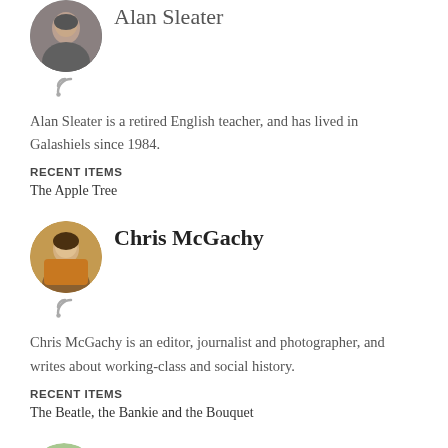[Figure (photo): Circular avatar photo of Alan Sleater (partially cropped at top), with RSS feed icon below]
Alan Sleater
Alan Sleater is a retired English teacher, and has lived in Galashiels since 1984.
RECENT ITEMS
The Apple Tree
[Figure (photo): Circular avatar photo of Chris McGachy with RSS feed icon below]
Chris McGachy
Chris McGachy is an editor, journalist and photographer, and writes about working-class and social history.
RECENT ITEMS
The Beatle, the Bankie and the Bouquet
[Figure (photo): Circular avatar photo of Mick O Sullivan (partially cropped at bottom)]
Mick O Sullivan